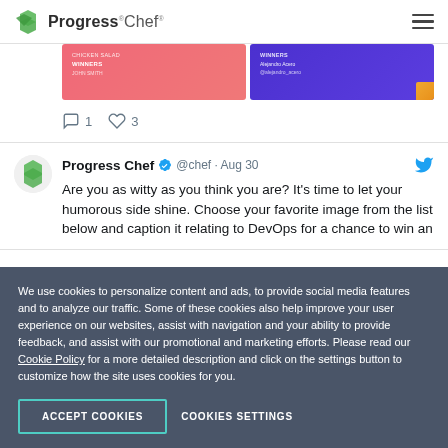Progress Chef (logo and navigation)
[Figure (screenshot): Partial tweet card showing two side-by-side promotional images (pink/red and purple) with winners announcement content, with comment (1) and like (3) action counts below]
[Figure (screenshot): Tweet from Progress Chef @chef · Aug 30 with text: Are you as witty as you think you are? It's time to let your humorous side shine. Choose your favorite image from the list below and caption it relating to DevOps for a chance to win an...]
We use cookies to personalize content and ads, to provide social media features and to analyze our traffic. Some of these cookies also help improve your user experience on our websites, assist with navigation and your ability to provide feedback, and assist with our promotional and marketing efforts. Please read our Cookie Policy for a more detailed description and click on the settings button to customize how the site uses cookies for you.
ACCEPT COOKIES
COOKIES SETTINGS